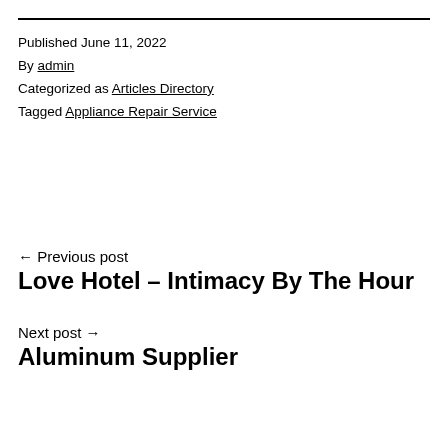Published June 11, 2022
By admin
Categorized as Articles Directory
Tagged Appliance Repair Service
← Previous post
Love Hotel – Intimacy By The Hour
Next post →
Aluminum Supplier